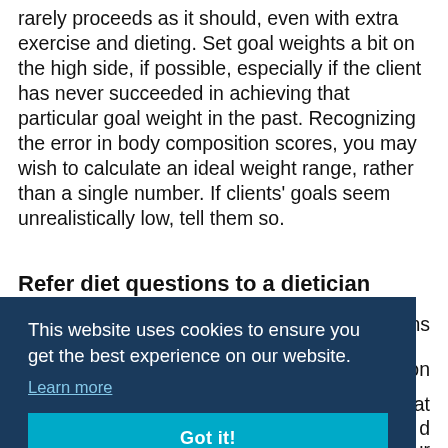rarely proceeds as it should, even with extra exercise and dieting. Set goal weights a bit on the high side, if possible, especially if the client has never succeeded in achieving that particular goal weight in the past. Recognizing the error in body composition scores, you may wish to calculate an ideal weight range, rather than a single number. If clients' goals seem unrealistically low, tell them so.
Refer diet questions to a dietician
[partial text obscured by cookie banner] ...ions ...a on ...peat ...d ...ur scope of practice if you start prescribing specific
This website uses cookies to ensure you get the best experience on our website. Learn more [Got it! button]